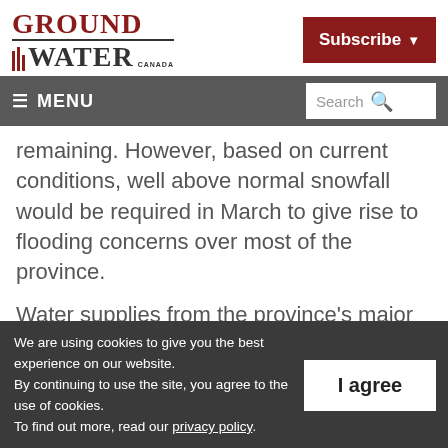Ground Water Canada — Subscribe
≡ MENU  Search
remaining. However, based on current conditions, well above normal snowfall would be required in March to give rise to flooding concerns over most of the province.
Water supplies from the province's major
We are using cookies to give you the best experience on our website. By continuing to use the site, you agree to the use of cookies. To find out more, read our privacy policy.